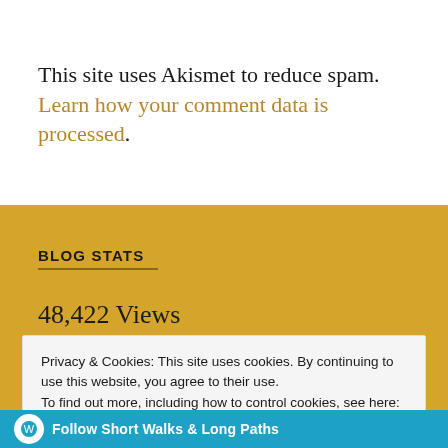This site uses Akismet to reduce spam. Learn how your comment data is processed.
BLOG STATS
48,422 Views
Privacy & Cookies: This site uses cookies. By continuing to use this website, you agree to their use.
To find out more, including how to control cookies, see here: Cookie Policy
Close and accept
Follow Short Walks & Long Paths